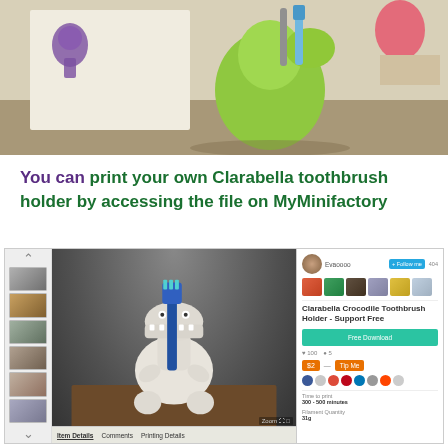[Figure (photo): Photo of a green dinosaur plush toy holding toothbrushes, in front of a children's illustrated backdrop]
You can print your own Clarabella toothbrush holder by accessing the file on MyMinifactory
[Figure (screenshot): Screenshot of the MyMinifactory product page for Clarabella Crocodile Toothbrush Holder - Support Free, showing a white 3D-printed crocodile holding a toothbrush, sidebar thumbnails, user profile, follow button, download button, like/tip options, social icons, and product details including Time to Print: 300-500 minutes and Filament Quantity: 31g]